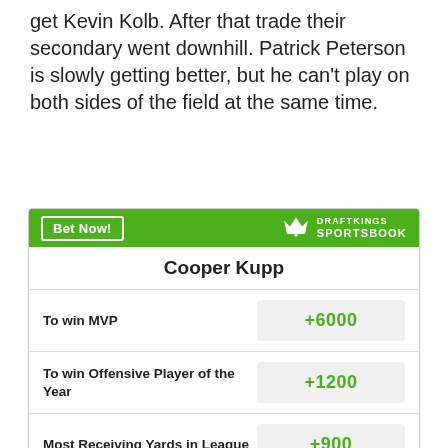get Kevin Kolb. After that trade their secondary went downhill. Patrick Peterson is slowly getting better, but he can't play on both sides of the field at the same time.
| Bet | Odds |
| --- | --- |
| Cooper Kupp |  |
| To win MVP | +6000 |
| To win Offensive Player of the Year | +1200 |
| Most Receiving Yards in League | +900 |
Odds/Lines subject to change. See draftkings.com for details.